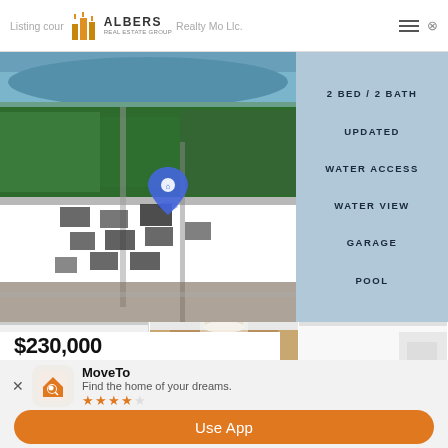Listing courtesy of Albers Real Estate Realty Mo Llc.
[Figure (photo): Aerial view of waterfront property neighborhood with river in background, location pin marker visible. Blue water, green trees, residential area.]
2 BED / 2 BATH
UPDATED
WATER ACCESS
WATER VIEW
GARAGE
POOL
[Figure (photo): Interior room photo showing white walls and ceiling fan]
[Figure (photo): Interior hallway with wood-paneled walls and recessed lighting]
[Figure (photo): Interior bathroom or kitchen with white finishes]
$230,000
MoveTo
Find the home of your dreams.
★★★★☆
Use App